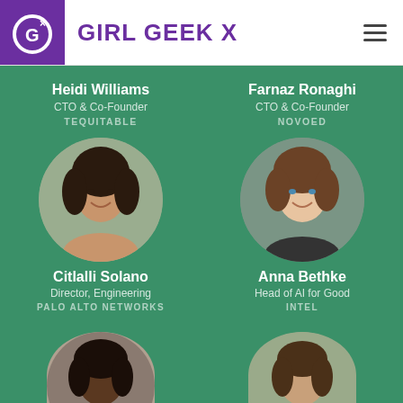Girl Geek X
Heidi Williams
CTO & Co-Founder
TEQUITABLE
Farnaz Ronaghi
CTO & Co-Founder
NOVOED
[Figure (photo): Circular headshot photo of Citlalli Solano]
Citlalli Solano
Director, Engineering
PALO ALTO NETWORKS
[Figure (photo): Circular headshot photo of Anna Bethke]
Anna Bethke
Head of AI for Good
INTEL
[Figure (photo): Partial circular headshot photo at bottom left]
[Figure (photo): Partial circular headshot photo at bottom right]